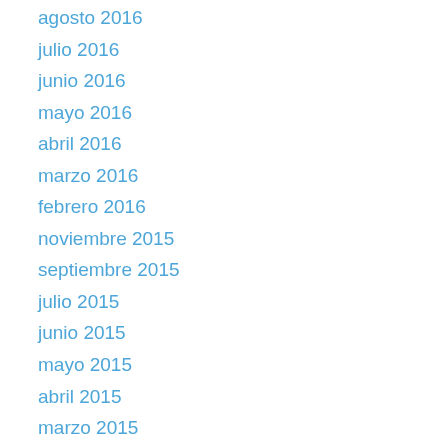agosto 2016
julio 2016
junio 2016
mayo 2016
abril 2016
marzo 2016
febrero 2016
noviembre 2015
septiembre 2015
julio 2015
junio 2015
mayo 2015
abril 2015
marzo 2015
febrero 2015
enero 2015
diciembre 2014
noviembre 2014
octubre 2014
septiembre 2014